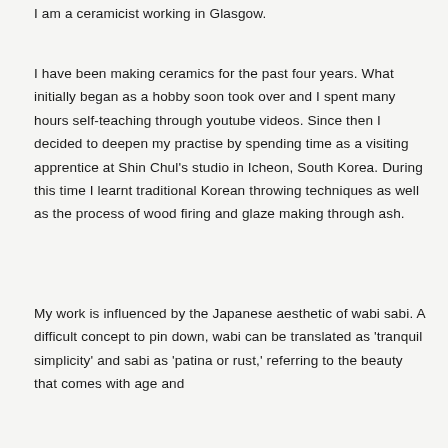I am a ceramicist working in Glasgow.
I have been making ceramics for the past four years. What initially began as a hobby soon took over and I spent many hours self-teaching through youtube videos. Since then I decided to deepen my practise by spending time as a visiting apprentice at Shin Chul's studio in Icheon, South Korea. During this time I learnt traditional Korean throwing techniques as well as the process of wood firing and glaze making through ash.
My work is influenced by the Japanese aesthetic of wabi sabi. A difficult concept to pin down, wabi can be translated as 'tranquil simplicity' and sabi as 'patina or rust,' referring to the beauty that comes with age and